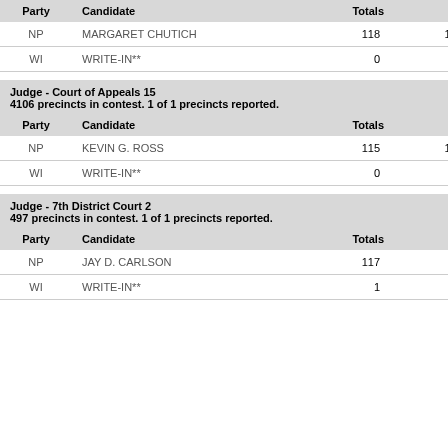| Party | Candidate | Totals | Pct |
| --- | --- | --- | --- |
| NP | MARGARET CHUTICH | 118 | 100.00% |
| WI | WRITE-IN** | 0 | 0.00% |
Judge - Court of Appeals 15
4106 precincts in contest. 1 of 1 precincts reported.
| Party | Candidate | Totals | Pct |
| --- | --- | --- | --- |
| NP | KEVIN G. ROSS | 115 | 100.00% |
| WI | WRITE-IN** | 0 | 0.00% |
Judge - 7th District Court 2
497 precincts in contest. 1 of 1 precincts reported.
| Party | Candidate | Totals | Pct |
| --- | --- | --- | --- |
| NP | JAY D. CARLSON | 117 | 99.15% |
| WI | WRITE-IN** | 1 | 0.85% |